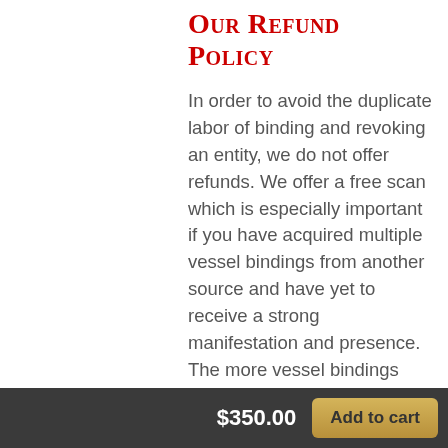Our Refund Policy
In order to avoid the duplicate labor of binding and revoking an entity, we do not offer refunds. We offer a free scan which is especially important if you have acquired multiple vessel bindings from another source and have yet to receive a strong manifestation and presence. The more vessel bindings one has, without an ongoing manifestation, the more likely it is that a block exists. *Please refer to our Terms... for non-deceit.